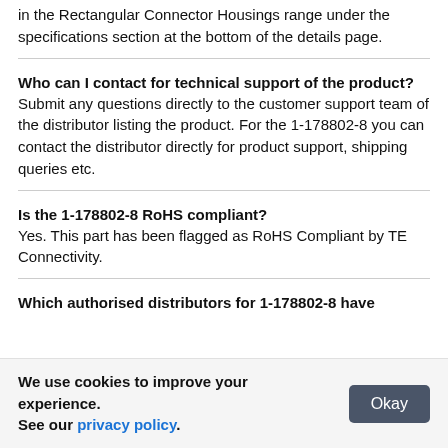in the Rectangular Connector Housings range under the specifications section at the bottom of the details page.
Who can I contact for technical support of the product? Submit any questions directly to the customer support team of the distributor listing the product. For the 1-178802-8 you can contact the distributor directly for product support, shipping queries etc.
Is the 1-178802-8 RoHS compliant? Yes. This part has been flagged as RoHS Compliant by TE Connectivity.
Which authorised distributors for 1-178802-8 have
We use cookies to improve your experience. See our privacy policy.